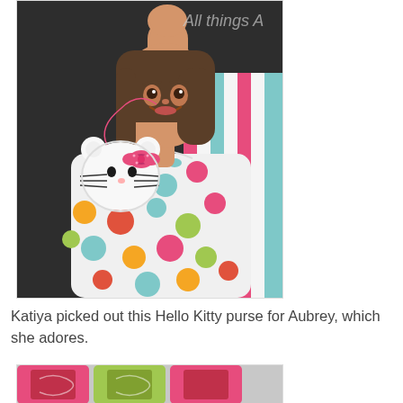[Figure (photo): Young girl in a colorful polka dot dress holding up a Hello Kitty purse, smiling at the camera. Striped background visible behind her. Text overlay 'All things A' partially visible in upper right of photo.]
Katiya picked out this Hello Kitty purse for Aubrey, which she adores.
[Figure (photo): Partial view of colorful decorative items, appears to show pink and green decorations.]